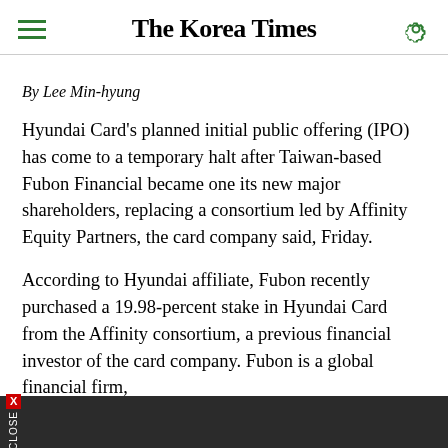The Korea Times
By Lee Min-hyung
Hyundai Card's planned initial public offering (IPO) has come to a temporary halt after Taiwan-based Fubon Financial became one its new major shareholders, replacing a consortium led by Affinity Equity Partners, the card company said, Friday.
According to Hyundai affiliate, Fubon recently purchased a 19.98-percent stake in Hyundai Card from the Affinity consortium, a previous financial investor of the card company. Fubon is a global financial firm,